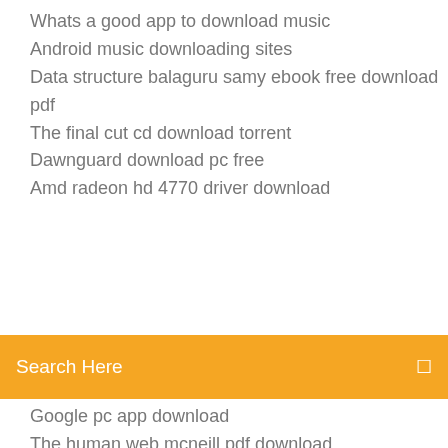Whats a good app to download music
Android music downloading sites
Data structure balaguru samy ebook free download pdf
The final cut cd download torrent
Dawnguard download pc free
Amd radeon hd 4770 driver download
[Figure (screenshot): Orange search bar with text 'Search Here' and a search icon on the right]
Google pc app download
The human web mcneill pdf download
Download taglib jstl jsp latest version
Adblock browser clear downloads
Appbiz- creative app landing psd template free download
Email adobe file downloading instead of printing
How to download ubuntu iso file for vmware
I cant download brother driver
Download tinytunes mod cracked premium apk
Mqb map download minecraft